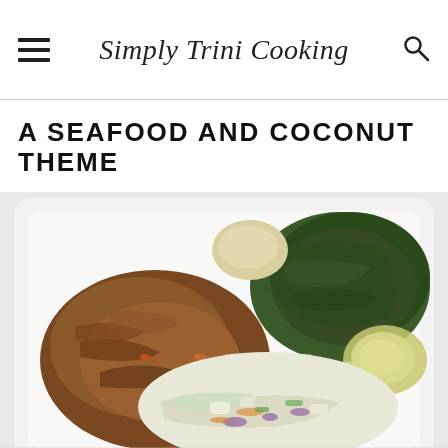Simply Trini Cooking
A SEAFOOD AND COCONUT THEME
[Figure (photo): A white styrofoam takeout container holding a Trinidadian meal with shredded stewed meat on the left, a dark green leafy dish (callaloo) in the upper right, coleslaw salad in the center bottom, and what appears to be potato or plantain on the side.]